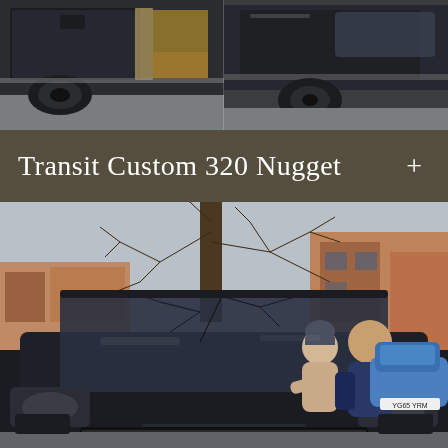[Figure (photo): Close-up photo of a dark/black Ford Transit Custom van, showing the side sliding door area, wheel arch, and side panels. The van is parked on a street. Two panels/shots of the van are shown side by side.]
Transit Custom 320 Nugget +
[Figure (photo): Photo of a black Range Rover parked on a residential street in London. Two people (a woman in a beige puffer jacket and woolly hat, and a man in a navy gilet) are standing beside the front of the Range Rover. Bare winter trees and red-brick townhouses are visible in the background. A blue Fiat 500 is parked to the right.]